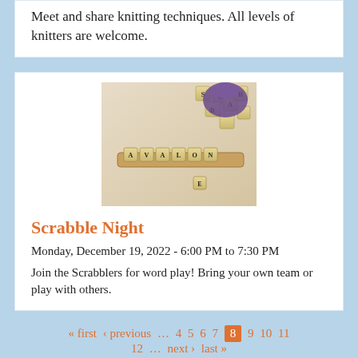Meet and share knitting techniques. All levels of knitters are welcome.
[Figure (photo): Scrabble tiles spelling out words on a wooden rack, with a purple bag of tiles spilled nearby]
Scrabble Night
Monday, December 19, 2022 - 6:00 PM to 7:30 PM
Join the Scrabblers for word play! Bring your own team or play with others.
« first ‹ previous … 4 5 6 7 8 9 10 11 12 … next › last »